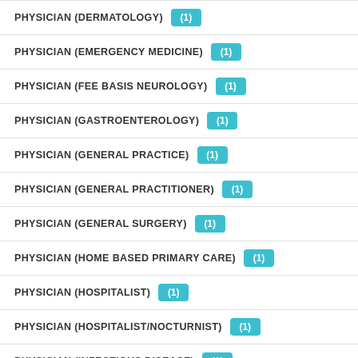PHYSICIAN (DERMATOLOGY) (1)
PHYSICIAN (EMERGENCY MEDICINE) (1)
PHYSICIAN (FEE BASIS NEUROLOGY) (1)
PHYSICIAN (GASTROENTEROLOGY) (1)
PHYSICIAN (GENERAL PRACTICE) (1)
PHYSICIAN (GENERAL PRACTITIONER) (1)
PHYSICIAN (GENERAL SURGERY) (1)
PHYSICIAN (HOME BASED PRIMARY CARE) (1)
PHYSICIAN (HOSPITALIST) (1)
PHYSICIAN (HOSPITALIST/NOCTURNIST) (1)
PHYSICIAN (INFECTIOUS DISEASE) (1)
PHYSICIAN (INTENSIVIST) (1)
PHYSICIAN (INTERNAL MEDICINE) (1)